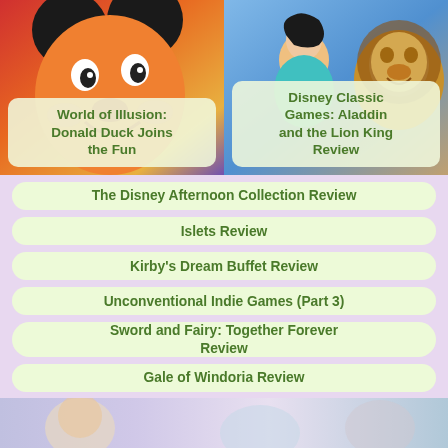[Figure (illustration): Mickey Mouse cartoon image on left, colorful background]
World of Illusion: Donald Duck Joins the Fun
[Figure (illustration): Aladdin and Lion King characters on right side, blue/gold background]
Disney Classic Games: Aladdin and the Lion King Review
The Disney Afternoon Collection Review
Islets Review
Kirby's Dream Buffet Review
Unconventional Indie Games (Part 3)
Sword and Fairy: Together Forever Review
Gale of Windoria Review
[Figure (illustration): Partial image strip at bottom of page showing cartoon characters]